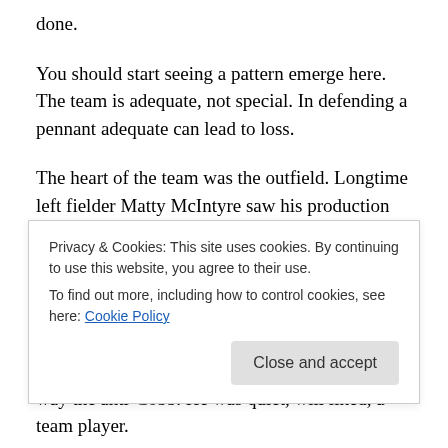done.
You should start seeing a pattern emerge here. The team is adequate, not special. In defending a pennant adequate can lead to loss.
The heart of the team was the outfield. Longtime left fielder Matty McIntyre saw his production slip in 1909 and became, in 1910, the fourth outfielder. Davy Jones, former backup outfielder, took over the job in left. The key to the outfield lay in the other two positions manned by Hall of Famers Ty Cobb and Sam Crawford. Cobb was coming off
Privacy & Cookies: This site uses cookies. By continuing to use this website, you agree to their use.
To find out more, including how to control cookies, see here: Cookie Policy
way the anti-Cobb. He was quiet, will liked, a team player.